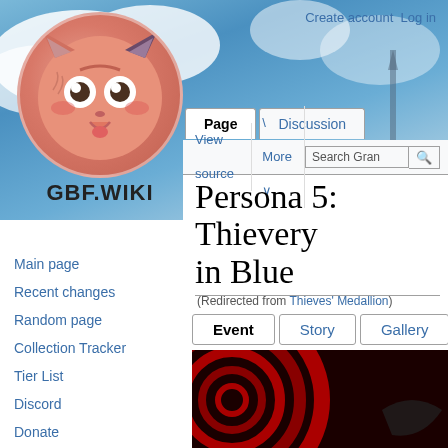[Figure (screenshot): GBF.WIKI website header with logo (cartoon cat face in circle), navigation tabs (Page, Discussion), action bar (View source, More, Search Gran), and page title 'Persona 5: Thievery in Blue' with redirect notice and Event/Story/Gallery tabs and event image showing red concentric rings]
Create account  Log in
Persona 5: Thievery in Blue
(Redirected from Thieves' Medallion)
Main page
Recent changes
Random page
Collection Tracker
Tier List
Discord
Donate
Events
Proving Grounds
Side Stories
Event History
Campaign History